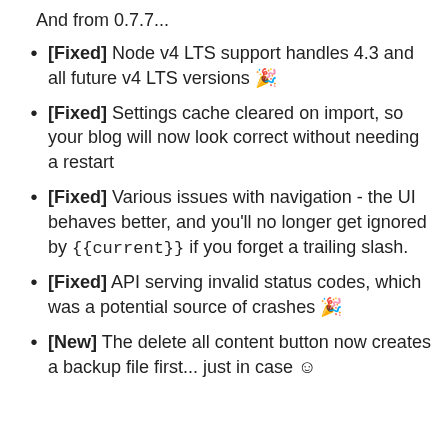And from 0.7.7...
[Fixed] Node v4 LTS support handles 4.3 and all future v4 LTS versions 🎉
[Fixed] Settings cache cleared on import, so your blog will now look correct without needing a restart
[Fixed] Various issues with navigation - the UI behaves better, and you'll no longer get ignored by {{current}} if you forget a trailing slash.
[Fixed] API serving invalid status codes, which was a potential source of crashes 🎉
[New] The delete all content button now creates a backup file first... just in case ☺